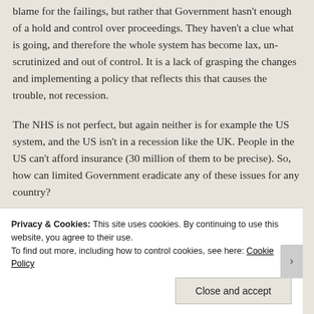blame for the failings, but rather that Government hasn't enough of a hold and control over proceedings. They haven't a clue what is going, and therefore the whole system has become lax, un-scrutinized and out of control. It is a lack of grasping the changes and implementing a policy that reflects this that causes the trouble, not recession.
The NHS is not perfect, but again neither is for example the US system, and the US isn't in a recession like the UK. People in the US can't afford insurance (30 million of them to be precise). So, how can limited Government eradicate any of these issues for any country?
OK let's talk about who likes Free Market Principles
Privacy & Cookies: This site uses cookies. By continuing to use this website, you agree to their use. To find out more, including how to control cookies, see here: Cookie Policy